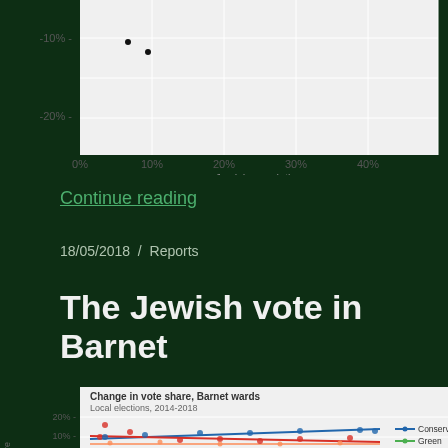[Figure (continuous-plot): Scatter plot (partial view): axes show Jewish population (x-axis, 0% to 40%) and an unlabeled y-axis (showing -10% and -20%). Two black dots are visible around x=5-10%.]
Continue reading
18/05/2018  /  Reports
The Jewish vote in Barnet
[Figure (scatter-plot): Scatter plot: Change in vote share, Barnet wards. Local elections, 2014-2018. Y-axis shows vote share change (visible range ~0% to 20%). Colored dots (red, blue, orange) and trend lines (blue rising = Conservative, red declining, orange flat, green). Legend shows Conservative and Green labels.]